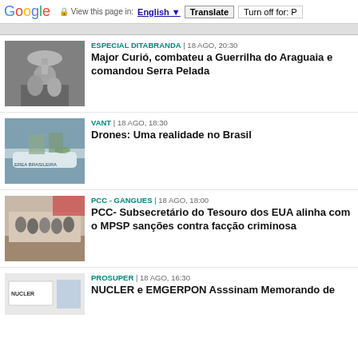Google | View this page in: English | Translate | Turn off for: P
[Figure (screenshot): Gray top strip partially visible at top of content]
[Figure (photo): Black and white photo of a man raising a dish/trophy overhead, crowd visible]
ESPECIAL DITABRANDA | 18 AGO, 20:30
Major Curió, combateu a Guerrilha do Araguaia e comandou Serra Pelada
[Figure (photo): Color photo of military personnel working on a drone aircraft, text 'EREA BRASILEIRA' visible on aircraft]
VANT | 18 AGO, 18:30
Drones: Uma realidade no Brasil
[Figure (photo): Color photo of group of people in suits seated and standing around a conference table]
PCC - GANGUES | 18 AGO, 18:00
PCC- Subsecretário do Tesouro dos EUA alinha com o MPSP sanções contra facção criminosa
[Figure (photo): Partially visible photo showing a sign with 'NUCLER' text]
PROSUPER | 18 AGO, 16:30
NUCLER e EMGERPON Asssinam Memorando de